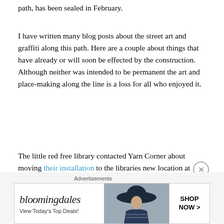path, has been sealed in February.
I have written many blog posts about the street art and graffiti along this path. Here are a couple about things that have already or will soon be effected by the construction. Although neither was intended to be permanent the art and place-making along the line is a loss for all who enjoyed it.
The little red free library contacted Yarn Corner about moving their installation to the libraries new location at Robinson Reserve in advance of the construction. Great to see world’s best practice in public art being carried out by guerrilla place-makers.
[Figure (advertisement): Bloomingdale’s advertisement banner with logo, 'View Today’s Top Deals!' text, image of woman with wide-brimmed hat, and 'SHOP NOW >' button]